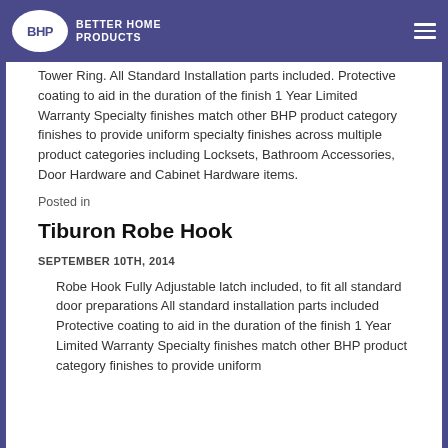BHP Better Home Products
Tower Ring. All Standard Installation parts included. Protective coating to aid in the duration of the finish 1 Year Limited Warranty Specialty finishes match other BHP product category finishes to provide uniform specialty finishes across multiple product categories including Locksets, Bathroom Accessories, Door Hardware and Cabinet Hardware items.
Posted in
Tiburon Robe Hook
SEPTEMBER 10TH, 2014
Robe Hook Fully Adjustable latch included, to fit all standard door preparations All standard installation parts included Protective coating to aid in the duration of the finish 1 Year Limited Warranty Specialty finishes match other BHP product category finishes to provide uniform